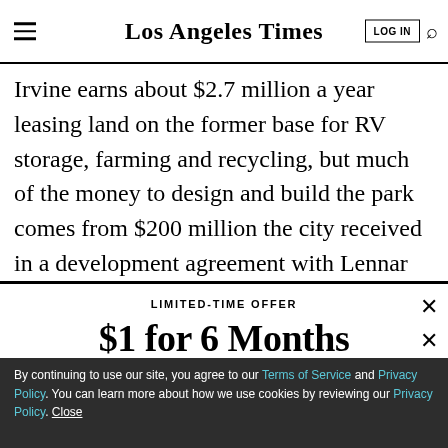Los Angeles Times
Irvine earns about $2.7 million a year leasing land on the former base for RV storage, farming and recycling, but much of the money to design and build the park comes from $200 million the city received in a development agreement with Lennar Corp., which plans
LIMITED-TIME OFFER
$1 for 6 Months
SUBSCRIBE NOW
By continuing to use our site, you agree to our Terms of Service and Privacy Policy. You can learn more about how we use cookies by reviewing our Privacy Policy. Close